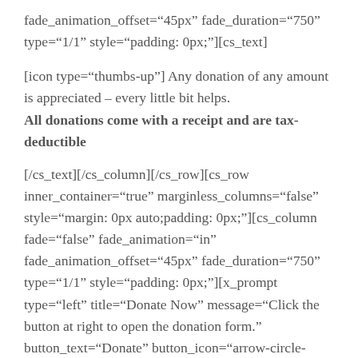fade_animation_offset="45px" fade_duration="750" type="1/1" style="padding: 0px;"][cs_text]
[icon type="thumbs-up"] Any donation of any amount is appreciated – every little bit helps. All donations come with a receipt and are tax-deductible
[/cs_text][/cs_column][/cs_row][cs_row inner_container="true" marginless_columns="false" style="margin: 0px auto;padding: 0px;"][cs_column fade="false" fade_animation="in" fade_animation_offset="45px" fade_duration="750" type="1/1" style="padding: 0px;"][x_prompt type="left" title="Donate Now" message="Click the button at right to open the donation form." button_text="Donate" button_icon="arrow-circle-right" circle="false"